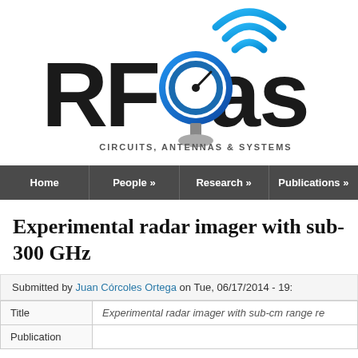[Figure (logo): RFCAS - Circuits, Antennas & Systems logo with stylized RF waves and antenna icon]
Home | People » | Research » | Publications »
Experimental radar imager with sub-cm range resolution at 300 GHz
Submitted by Juan Córcoles Ortega on Tue, 06/17/2014 - 19:...
| Title | Experimental radar imager with sub-cm range re... |
| Publication |  |